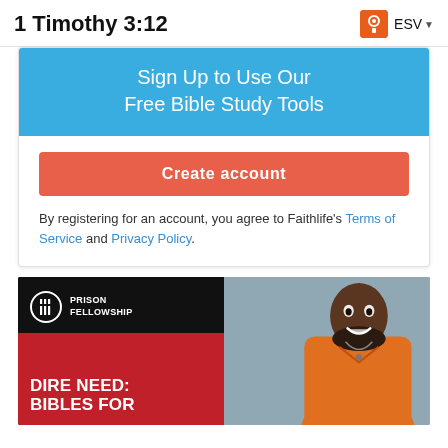1 Timothy 3:12  ESV
Sign Up to Use Our Free Bible Study Tools
Create account
By registering for an account, you agree to Faithlife's Terms of Service and Privacy Policy.
[Figure (photo): Prison Fellowship advertisement showing a smiling Black man in an orange jumpsuit on the right side, with the Prison Fellowship logo and 'DIRE NEED: BIBLES FOR' text on a black and red background on the left side.]